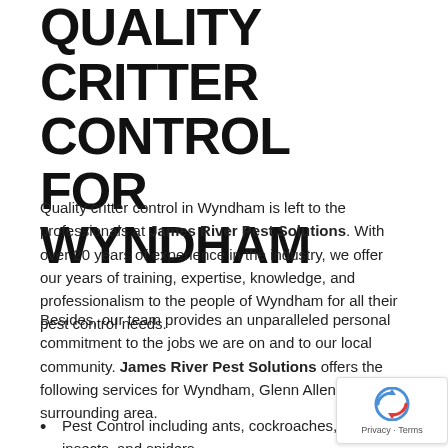QUALITY CRITTER CONTROL FOR WYNDHAM
Quality critter control in Wyndham is left to the professionals at James River Pest Solutions. With over 20 years of experience in the industry, we offer our years of training, expertise, knowledge, and professionalism to the people of Wyndham for all their pest control needs.
Besides, our team provides an unparalleled personal commitment to the jobs we are on and to our local community. James River Pest Solutions offers the following services for Wyndham, Glenn Allen, and the surrounding area.
Pest Control including ants, cockroaches, flying insects, and spiders